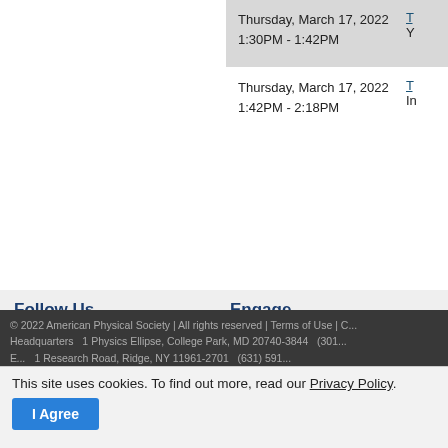| Date/Time | Session |
| --- | --- |
| Thursday, March 17, 2022
1:30PM - 1:42PM | T...
Y... |
| Thursday, March 17, 2022
1:42PM - 2:18PM | T...
In... |
Follow Us
Engage
Become an APS Member
Submit a Meeting Abstract
Submit a Manuscript
Find a Journal Article
Donate to APS
© 2022 American Physical Society | All rights reserved | Terms of Use | C...
Headquarters   1 Physics Ellipse, College Park, MD 20740-3844   (301)...
E...   1 Research Road, Ridge, NY 11961-2701   (631) 591...
C...c Affairs   529 14th St NW, Suite 1050, Washington, D.C...
This site uses cookies. To find out more, read our Privacy Policy.